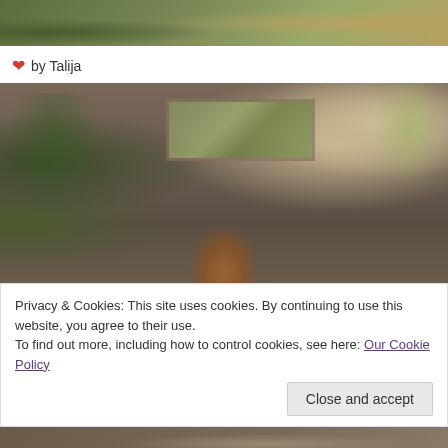[Figure (photo): Top portion of an outdoor scene with green foliage and ground]
❤ by Talija
[Figure (photo): Virtual interior scene showing an elegant sitting room with armchairs, a fireplace, a landscape painting above the mantle, and plants]
Privacy & Cookies: This site uses cookies. By continuing to use this website, you agree to their use.
To find out more, including how to control cookies, see here: Our Cookie Policy
Close and accept
[Figure (photo): Bottom portion of another outdoor/scene image]